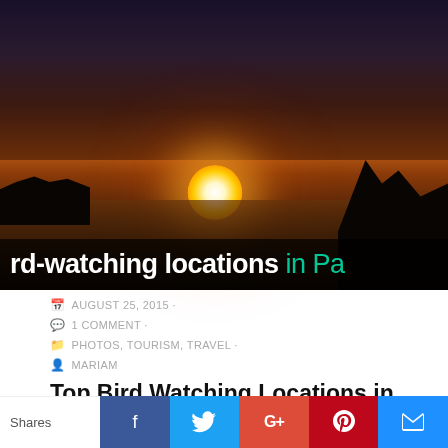[Figure (photo): Sunset over a lake or river with silhouetted trees and dock on the right. Text overlay reads 'rd-watching locations in Pa' in bold white and teal green.]
AUGUST 25, 2015 ·
1 COMMENT ·
PHOTOS, TOURISM, TRAVEL ·
MARIAM
Top Bird Watching Locations in Pakistan
Bird watching is a recreational past-time for some and a serious